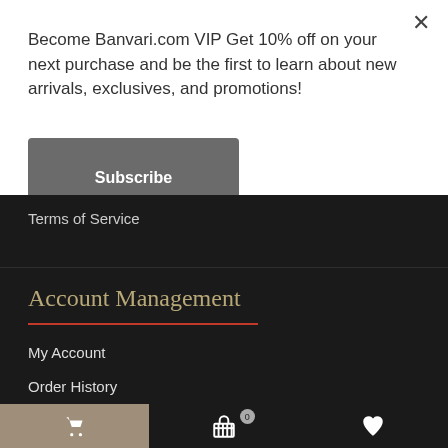Become Banvari.com VIP Get 10% off on your next purchase and be the first to learn about new arrivals, exclusives, and promotions!
Subscribe
Terms of Service
Account Management
My Account
Order History
Wish List